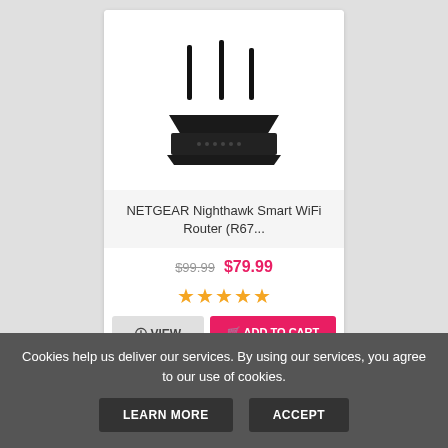[Figure (photo): NETGEAR Nighthawk WiFi router with three antennas, black color, viewed from the front-right angle]
NETGEAR Nighthawk Smart WiFi Router (R67...
$99.99 $79.99
★★★★★
ⓘ VIEW
🛒 ADD TO CART
Cookies help us deliver our services. By using our services, you agree to our use of cookies.
LEARN MORE
ACCEPT